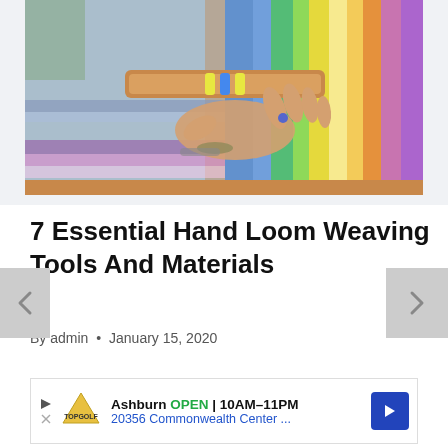[Figure (photo): A hand holding a weaving shuttle over a colorful rainbow-striped hand loom with yarn threads in multiple colors including blue, green, yellow, orange, and purple.]
7 Essential Hand Loom Weaving Tools And Materials
By admin  •  January 15, 2020
[Figure (other): Advertisement banner for TopGolf Ashburn showing OPEN 10AM–11PM and address 20356 Commonwealth Center...]